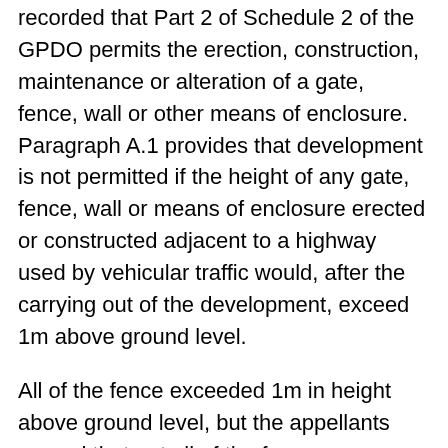recorded that Part 2 of Schedule 2 of the GPDO permits the erection, construction, maintenance or alteration of a gate, fence, wall or other means of enclosure. Paragraph A.1 provides that development is not permitted if the height of any gate, fence, wall or means of enclosure erected or constructed adjacent to a highway used by vehicular traffic would, after the carrying out of the development, exceed 1m above ground level.
All of the fence exceeded 1m in height above ground level, but the appellants argued that not all of the fence was adjacent to a highway used by vehicular traffic, in that there were splayed sections which were angled away from the road immediately on either side of the access, with the furthest parts being about 5m away from the road.